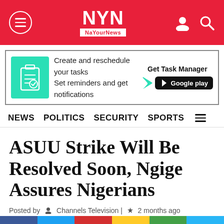NYN NaYourNews
[Figure (infographic): Task Manager app advertisement: teal clipboard icon, text 'Create and reschedule your tasks / Set reminders and get notifications', Get Task Manager, Google Play button]
NEWS  POLITICS  SECURITY  SPORTS
ASUU Strike Will Be Resolved Soon, Ngige Assures Nigerians
Posted by  Channels Television | 2 months ago